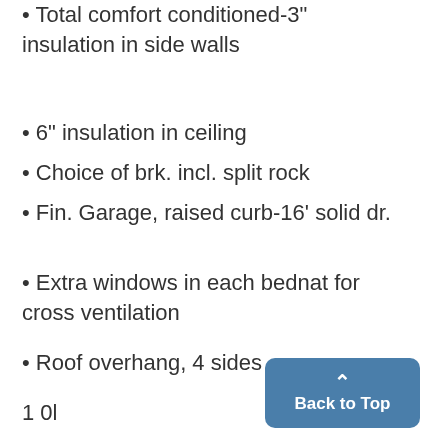Total comfort conditioned-3" insulation in side walls
6" insulation in ceiling
Choice of brk. incl. split rock
Fin. Garage, raised curb-16' solid dr.
Extra windows in each bednat for cross ventilation
Roof overhang, 4 sides
1 0l
[Figure (other): Back to Top button with upward arrow chevron]